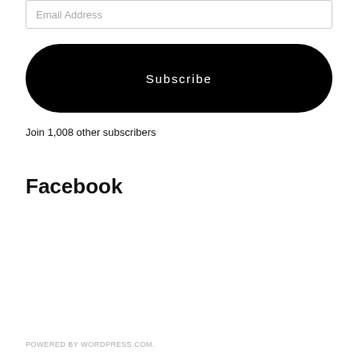Email Address
Subscribe
Join 1,008 other subscribers
Facebook
POWERED BY WORDPRESS.COM.